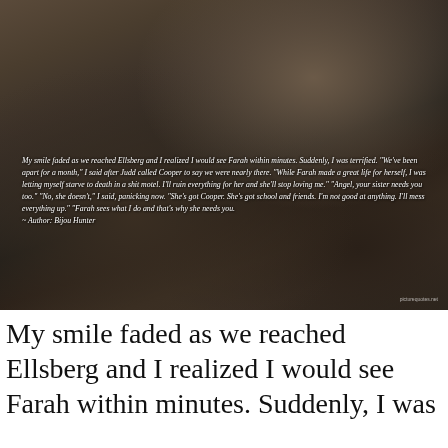[Figure (photo): Dark atmospheric photo of a person sitting, showing jeans and black shoes, with a bag visible, overlaid with a white italic text quote and author attribution on a dim background.]
My smile faded as we reached Ellsberg and I realized I would see Farah within minutes. Suddenly, I was terrified. "We've been apart for a month," I said after Judd called Cooper to say we were nearly there. "While Farah made a great life for herself, I was letting myself starve to death in a shit motel. I'll ruin everything for her and she'll stop loving me." "Angel, your sister needs you too." "No, she doesn't," I said, panicking now. "She's got Cooper. She's got school and friends. I'm not good at anything. I'll mess everything up." "Farah sees what I do and that's why she needs you."
~ Author: Bijou Hunter
My smile faded as we reached Ellsberg and I realized I would see Farah within minutes. Suddenly, I was